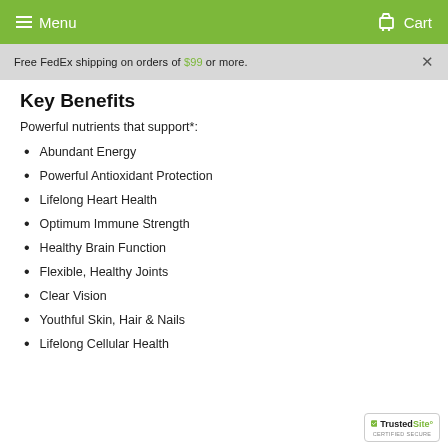Menu  Cart
Free FedEx shipping on orders of $99 or more.
Key Benefits
Powerful nutrients that support*:
Abundant Energy
Powerful Antioxidant Protection
Lifelong Heart Health
Optimum Immune Strength
Healthy Brain Function
Flexible, Healthy Joints
Clear Vision
Youthful Skin, Hair & Nails
Lifelong Cellular Health
[Figure (logo): TrustedSite Certified Secure badge]